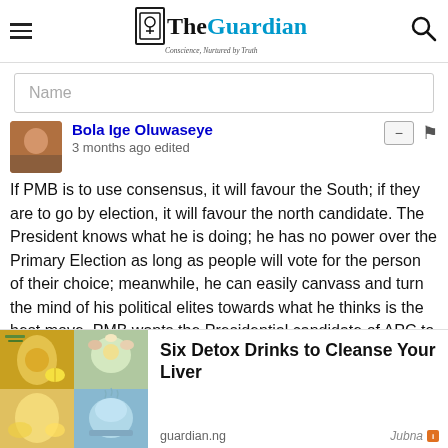The Guardian – Conscience, Nurtured by Truth
Name
Bola Ige Oluwaseye
3 months ago edited
If PMB is to use consensus, it will favour the South; if they are to go by election, it will favour the north candidate. The President knows what he is doing; he has no power over the Primary Election as long as people will vote for the person of their choice; meanwhile, he can easily canvass and turn the mind of his political elites towards what he thinks is the best move. PMB wants the Presidential candidate of APC to ge from the South. I know he respects BAT too but his
[Figure (photo): Advertisement image showing detox drinks with lemon, herbs, and tea]
Six Detox Drinks to Cleanse Your Liver
guardian.ng